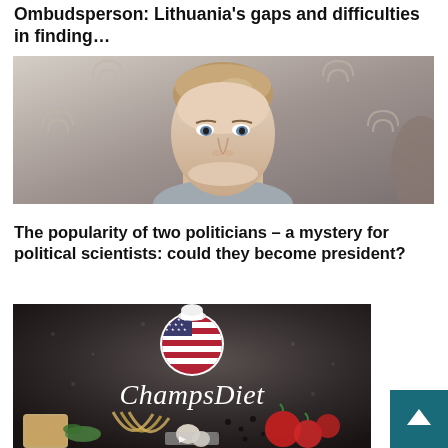Ombudsperson: Lithuania's gaps and difficulties in finding...
[Figure (photo): A young blonde woman looking slightly upward, photographed against a background with repeating logo/crest symbols in beige on white.]
The popularity of two politicians – a mystery for political scientists: could they become president?
[Figure (logo): ChampsDiet advertisement banner with dark grey background, a circular logo featuring a heart-shaped American flag design with chef hat, cursive 'ChampsDiet' text, and food items (bread, pasta, tomatoes, herbs) at the bottom.]